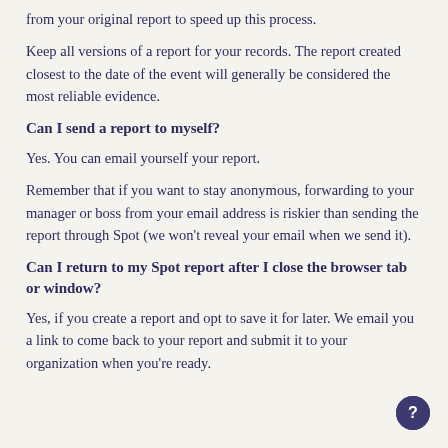from your original report to speed up this process.
Keep all versions of a report for your records. The report created closest to the date of the event will generally be considered the most reliable evidence.
Can I send a report to myself?
Yes. You can email yourself your report.
Remember that if you want to stay anonymous, forwarding to your manager or boss from your email address is riskier than sending the report through Spot (we won't reveal your email when we send it).
Can I return to my Spot report after I close the browser tab or window?
Yes, if you create a report and opt to save it for later. We email you a link to come back to your report and submit it to your organization when you're ready.